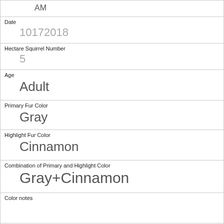| AM |
| Date | 10172018 |
| Hectare Squirrel Number | 5 |
| Age | Adult |
| Primary Fur Color | Gray |
| Highlight Fur Color | Cinnamon |
| Combination of Primary and Highlight Color | Gray+Cinnamon |
| Color notes |  |
| Location | Above Ground |
| Above Ground Sighter Measurement |  |
| Specific Location | on tree stump |